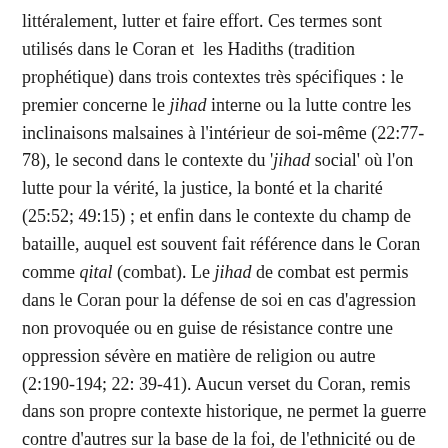littéralement, lutter et faire effort. Ces termes sont utilisés dans le Coran et les Hadiths (tradition prophétique) dans trois contextes très spécifiques : le premier concerne le jihad interne ou la lutte contre les inclinaisons malsaines à l'intérieur de soi-même (22:77-78), le second dans le contexte du 'jihad social' où l'on lutte pour la vérité, la justice, la bonté et la charité (25:52; 49:15) ; et enfin dans le contexte du champ de bataille, auquel est souvent fait référence dans le Coran comme qital (combat). Le jihad de combat est permis dans le Coran pour la défense de soi en cas d'agression non provoquée ou en guise de résistance contre une oppression sévère en matière de religion ou autre (2:190-194; 22: 39-41). Aucun verset du Coran, remis dans son propre contexte historique, ne permet la guerre contre d'autres sur la base de la foi, de l'ethnicité ou de la nationalité. Des critères très stricts doivent être respectés avant d'initier tout jihad de combat. Pour commencer, comme tout acte détestable,